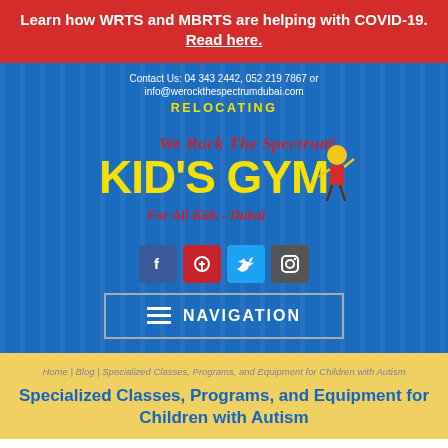Learn how WRTS and MBRTS are helping with COVID-19. Read here.
Contact Us: 04 343 2442, 052 219 7867 or info@werockthespectrumdubai.com
RELOCATING
[Figure (logo): We Rock The Spectrum Kid's Gym For All Kids - Dubai logo with child mascot]
[Figure (infographic): Social media icons: Facebook, Pinterest, Twitter, Instagram]
NAVIGATION
Home | Blog | Specialized Classes, Programs, and Equipment for Children with Autism
Specialized Classes, Programs, and Equipment for Children with Autism